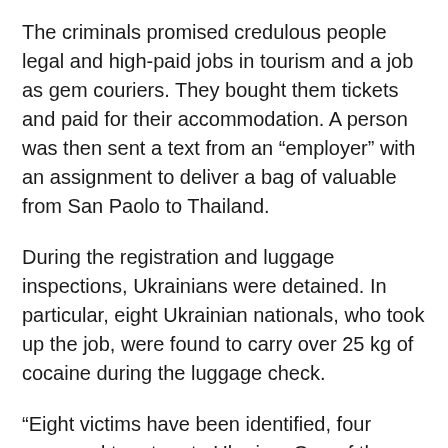The criminals promised credulous people legal and high-paid jobs in tourism and a job as gem couriers. They bought them tickets and paid for their accommodation. A person was then sent a text from an “employer” with an assignment to deliver a bag of valuable from San Paolo to Thailand.
During the registration and luggage inspections, Ukrainians were detained. In particular, eight Ukrainian nationals, who took up the job, were found to carry over 25 kg of cocaine during the luggage check.
"Eight victims have been identified, four managed to return to Ukraine. One of the victims was convicted in Thailand," the prosecutor said.